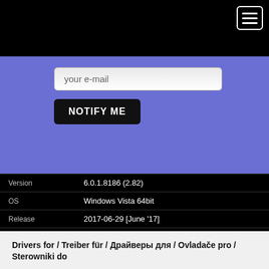[Figure (screenshot): Hamburger menu icon (three horizontal lines) in a white rounded rectangle border, on black background, top right corner]
[Figure (screenshot): Blue subscription bar with network/globe icon, email input field labeled 'your e-mail', and a black 'NOTIFY ME' button]
|  |  |
| --- | --- |
| Version | 6.0.1.8186 (2.82) |
| OS | Windows Vista 64bit |
| Release | 2017-06-29 [June '17] |
| Status | WHQL signature |
| File | win7_win8_win81_win10_r282.exe |
| Downloaded | 1899215× |
Drivers for / Treiber für / Драйверы для / Ovladače pro / Sterowniki do
More info